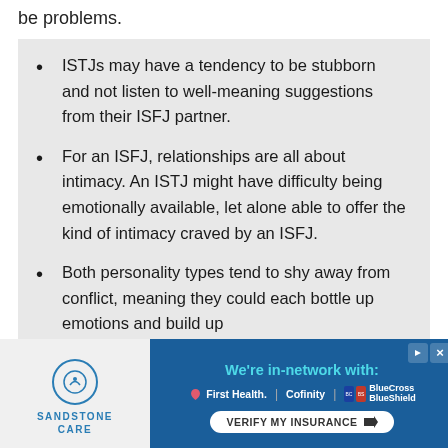be problems.
ISTJs may have a tendency to be stubborn and not listen to well-meaning suggestions from their ISFJ partner.
For an ISFJ, relationships are all about intimacy. An ISTJ might have difficulty being emotionally available, let alone able to offer the kind of intimacy craved by an ISFJ.
Both personality types tend to shy away from conflict, meaning they could each bottle up emotions and build up
[Figure (infographic): Advertisement banner for Sandstone Care showing 'We're in-network with:' First Health, Cofinity, BlueCross BlueShield logos and a 'VERIFY MY INSURANCE' button.]